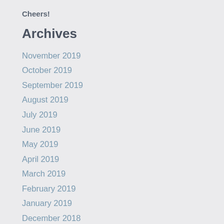Cheers!
Archives
November 2019
October 2019
September 2019
August 2019
July 2019
June 2019
May 2019
April 2019
March 2019
February 2019
January 2019
December 2018
November 2018
October 2018
September 2018
August 2018